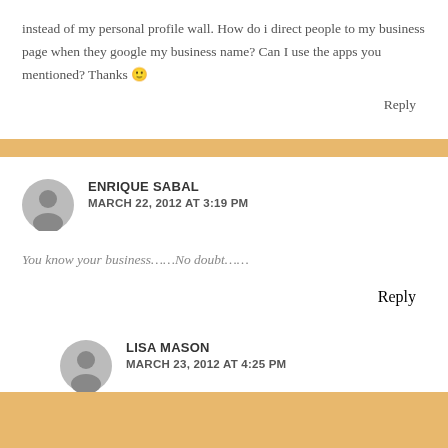instead of my personal profile wall. How do i direct people to my business page when they google my business name? Can I use the apps you mentioned? Thanks 🙂
Reply
ENRIQUE SABAL
MARCH 22, 2012 AT 3:19 PM
You know your business……No doubt……
Reply
LISA MASON
MARCH 23, 2012 AT 4:25 PM